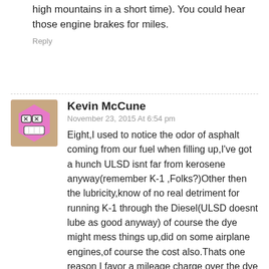high mountains in a short time). You could hear those engine brakes for miles.
Reply
Kevin McCune
November 23, 2015 At 6:54 pm
Eight,I used to notice the odor of asphalt coming from our fuel when filling up,I've got a hunch ULSD isnt far from kerosene anyway(remember K-1 ,Folks?)Other then the lubricity,know of no real detriment for running K-1 through the Diesel(ULSD doesnt lube as good anyway) of course the dye might mess things up,did on some airplane engines,of course the cost also.Thats one reason I favor a mileage charge over the dye fiasco,I have to call double BS on the dye business,I know about the bureaucracy and all,but it seems to me
[Figure (illustration): Avatar icon: pink/magenta hexagon-shaped cartoon character with glasses and teeth, on a brown/tan background]